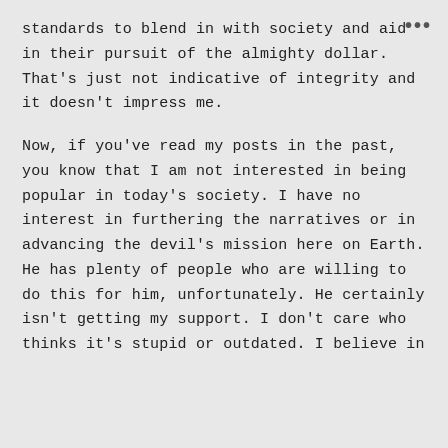standards to blend in with society and aid in their pursuit of the almighty dollar. That's just not indicative of integrity and it doesn't impress me.
Now, if you've read my posts in the past, you know that I am not interested in being popular in today's society. I have no interest in furthering the narratives or in advancing the devil's mission here on Earth. He has plenty of people who are willing to do this for him, unfortunately. He certainly isn't getting my support. I don't care who thinks it's stupid or outdated. I believe in